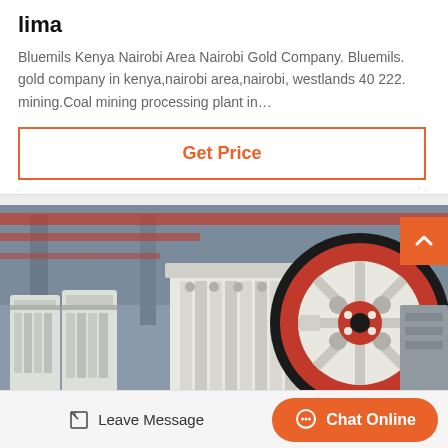lima
Bluemils Kenya Nairobi Area Nairobi Gold Company. Bluemils. gold company in kenya,nairobi area,nairobi, westlands 40 222. mining.Coal mining processing plant in…
Get Price
[Figure (photo): Industrial jaw crusher machines in a factory setting, with large red and white crushers and a prominent red/black flywheel in the foreground.]
Leave Message
Chat Online